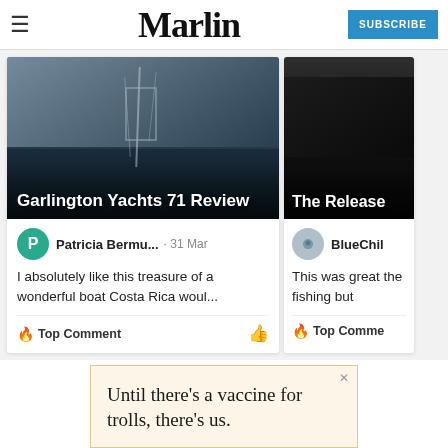Marlin | SUBSCRIBE
[Figure (photo): Garlington Yachts 71 fishing boat with tall tower against dramatic cloudy sky]
Garlington Yachts 71 Review
Patricia Bermu... · 31 Mar
I absolutely like this treasure of a wonderful boat Costa Rica woul...
🔥 Top Comment
[Figure (photo): The Release - dark underwater or ocean photo]
The Release
BlueChili
This was great the fishing but
🔥 Top Comme
[Figure (other): Advertisement: Until there's a vaccine for trolls, there's us.]